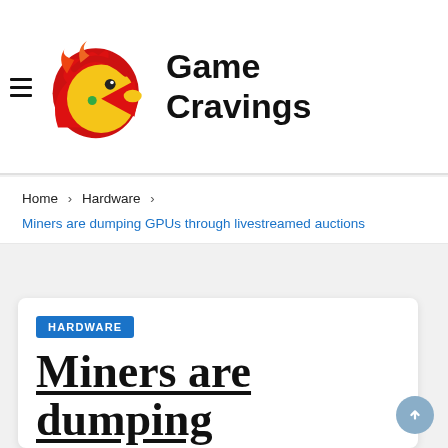Game Cravings
Home > Hardware >
Miners are dumping GPUs through livestreamed auctions
HARDWARE
Miners are dumping GPUs through